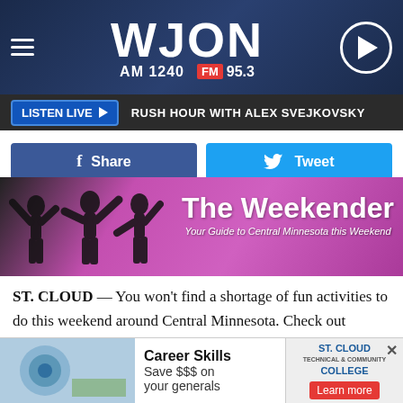[Figure (screenshot): WJON radio station website header with logo showing AM 1240 and FM 95.3, hamburger menu icon, and play button]
LISTEN LIVE  RUSH HOUR WITH ALEX SVEJKOVSKY
[Figure (screenshot): Facebook Share and Twitter Tweet social sharing buttons]
[Figure (illustration): The Weekender banner - Your Guide to Central Minnesota this Weekend, with silhouettes of people on pink/purple background]
ST. CLOUD — You won't find a shortage of fun activities to do this weekend around Central Minnesota. Check out Hockey Day Minnesota out at Lake George, enjoy some dancing at Paramount Theatre, listen to the sounds of a premier men's ensemble performing in downtown St. Cloud, share some love songs with the Fabulous Armadillos, and enjoy some
[Figure (screenshot): Advertisement for St. Cloud Technical and Community College - Career Skills, Save $$$ on your generals, Learn more]